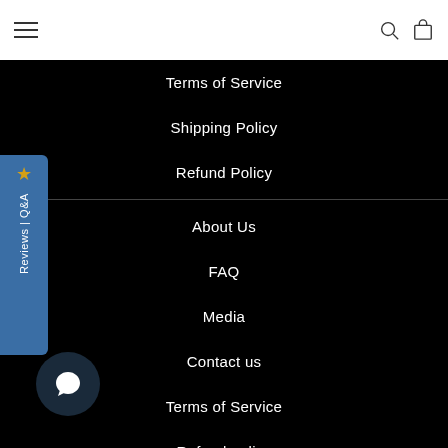Navigation bar with hamburger menu, search icon, bag icon
Terms of Service
Shipping Policy
Refund Policy
About Us
FAQ
Media
Contact us
Terms of Service
Refund policy
[Figure (other): Blue side widget tab with star icon and vertical text 'Reviews | Q&A']
[Figure (other): Dark circular chat bubble button in bottom left corner]